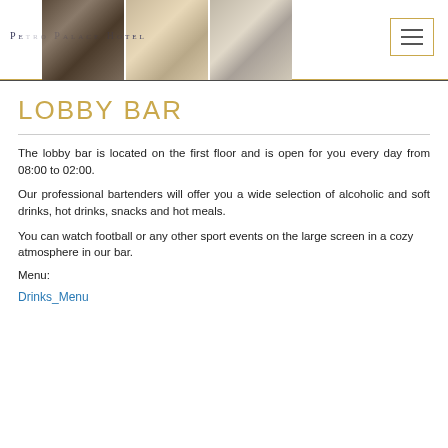PETRO PALACE HOTEL
[Figure (photo): Three photos of hotel lobby bar and lounge areas]
LOBBY BAR
The lobby bar is located on the first floor and is open for you every day from 08:00 to 02:00.
Our professional bartenders will offer you a wide selection of alcoholic and soft drinks, hot drinks, snacks and hot meals.
You can watch football or any other sport events on the large screen in a cozy atmosphere in our bar.
Menu:
Drinks_Menu